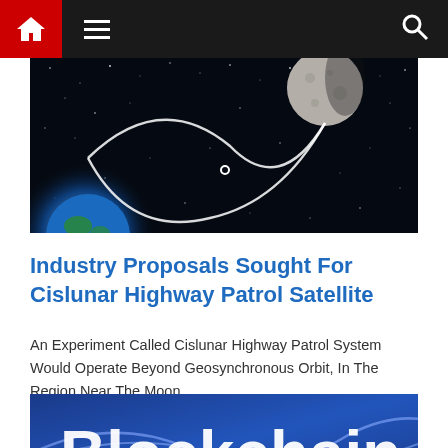Navigation bar with home, menu, and search icons
[Figure (photo): Space scene showing Earth, the Moon with orbital path lines drawn around them against a starry black background]
Industry Proposals Sought For Cislunar Highway Patrol Satellite
An Experiment Called Cislunar Highway Patrol System Would Operate Beyond Geosynchronous Orbit, In The Region Near The Moon ..
[Figure (photo): Blockchain themed image with bold white text reading 'Blockchain' over a blue abstract background with glowing lines]